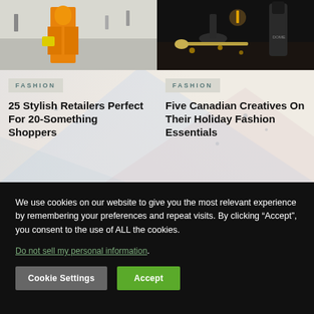[Figure (photo): Woman wearing orange outfit on a city plaza]
[Figure (photo): Dark table setting with candle, wine bottle, and gold spoon]
FASHION
25 Stylish Retailers Perfect For 20-Something Shoppers
FASHION
Five Canadian Creatives On Their Holiday Fashion Essentials
We use cookies on our website to give you the most relevant experience by remembering your preferences and repeat visits. By clicking “Accept”, you consent to the use of ALL the cookies.
Do not sell my personal information.
Cookie Settings
Accept